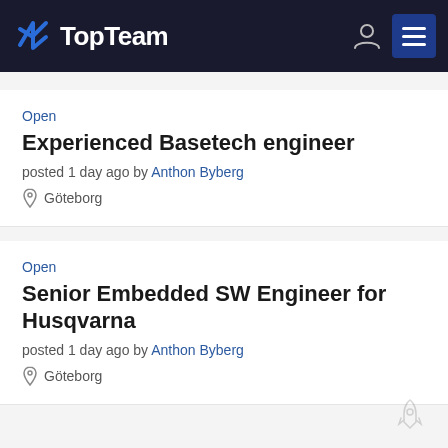TopTeam
Open
Experienced Basetech engineer
posted 1 day ago by Anthon Byberg
Göteborg
Open
Senior Embedded SW Engineer for Husqvarna
posted 1 day ago by Anthon Byberg
Göteborg